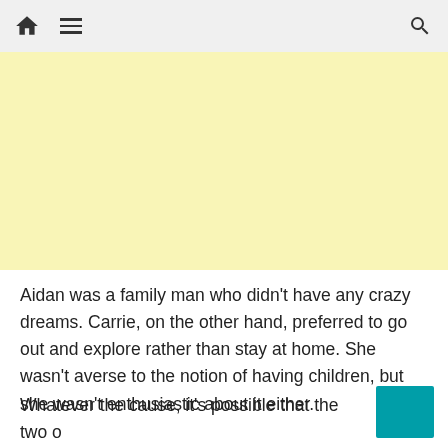🏠 ☰ 🔍
[Figure (other): Light yellow advertisement banner placeholder]
Aidan was a family man who didn't have any crazy dreams. Carrie, on the other hand, preferred to go out and explore rather than stay at home. She wasn't averse to the notion of having children, but she wasn't enthusiastic about it either.
Whatever the cause, it's possible that the two of